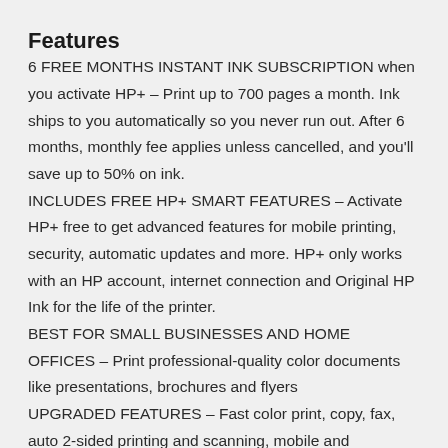Features
6 FREE MONTHS INSTANT INK SUBSCRIPTION when you activate HP+ – Print up to 700 pages a month. Ink ships to you automatically so you never run out. After 6 months, monthly fee applies unless cancelled, and you'll save up to 50% on ink.
INCLUDES FREE HP+ SMART FEATURES – Activate HP+ free to get advanced features for mobile printing, security, automatic updates and more. HP+ only works with an HP account, internet connection and Original HP Ink for the life of the printer.
BEST FOR SMALL BUSINESSES AND HOME OFFICES – Print professional-quality color documents like presentations, brochures and flyers
UPGRADED FEATURES – Fast color print, copy, fax, auto 2-sided printing and scanning, mobile and